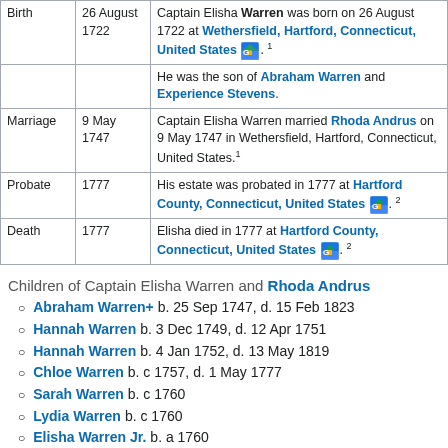| Event | Date | Description |
| --- | --- | --- |
| Birth | 26 August 1722 | Captain Elisha Warren was born on 26 August 1722 at Wethersfield, Hartford, Connecticut, United States. 1 |
|  |  | He was the son of Abraham Warren and Experience Stevens. |
| Marriage | 9 May 1747 | Captain Elisha Warren married Rhoda Andrus on 9 May 1747 in Wethersfield, Hartford, Connecticut, United States. 1 |
| Probate | 1777 | His estate was probated in 1777 at Hartford County, Connecticut, United States. 2 |
| Death | 1777 | Elisha died in 1777 at Hartford County, Connecticut, United States. 2 |
Children of Captain Elisha Warren and Rhoda Andrus
Abraham Warren+ b. 25 Sep 1747, d. 15 Feb 1823
Hannah Warren b. 3 Dec 1749, d. 12 Apr 1751
Hannah Warren b. 4 Jan 1752, d. 13 May 1819
Chloe Warren b. c 1757, d. 1 May 1777
Sarah Warren b. c 1760
Lydia Warren b. c 1760
Elisha Warren Jr. b. a 1760
Citations
1. [S223] Wethersfield, CT Vital Records (1634-1868).